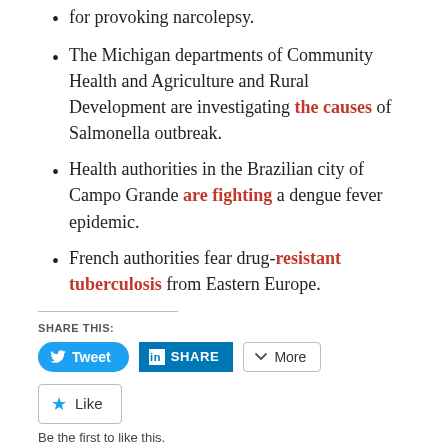for provoking narcolepsy.
The Michigan departments of Community Health and Agriculture and Rural Development are investigating the causes of Salmonella outbreak.
Health authorities in the Brazilian city of Campo Grande are fighting a dengue fever epidemic.
French authorities fear drug-resistant tuberculosis from Eastern Europe.
SHARE THIS:
[Figure (screenshot): Social sharing buttons: Tweet (Twitter/blue), SHARE (LinkedIn/blue), More (grey outline)]
[Figure (screenshot): Like button with star icon]
Be the first to like this.
tagged aids healthcare foundation, attitudes, bird flu, breast cancer, cancer, cancer association of nambia (can), centers for disease control and prevention (cdc), cholesterol, dengue